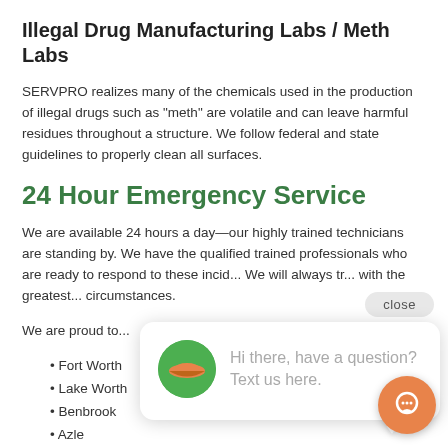Illegal Drug Manufacturing Labs / Meth Labs
SERVPRO realizes many of the chemicals used in the production of illegal drugs such as "meth" are volatile and can leave harmful residues throughout a structure. We follow federal and state guidelines to properly clean all surfaces.
24 Hour Emergency Service
We are available 24 hours a day—our highly trained technicians are standing by. We have the qualified trained professionals who are ready to respond to these incid... We will always tr... with the greatest... circumstances.
We are proud to...
• Fort Worth
• Lake Worth
• Benbrook
• Azle
• Lakeside
[Figure (other): Chat widget overlay with green SERVPRO logo avatar and text 'Hi there, have a question? Text us here.' with an orange chat FAB button and a 'close' button.]